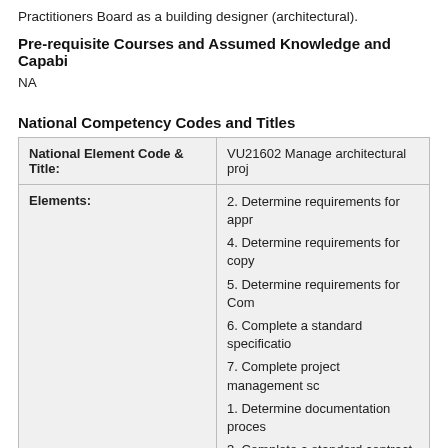Practitioners Board as a building designer (architectural).
Pre-requisite Courses and Assumed Knowledge and Capabilities
NA
National Competency Codes and Titles
| National Element Code & Title: | VU21602 Manage architectural proj... |
| --- | --- |
| Elements: | 2. Determine requirements for appr...
4. Determine requirements for copy...
5. Determine requirements for Com...
6. Complete a standard specificatio...
7. Complete project management s...
1. Determine documentation proces...
3. Complete a standard contract |